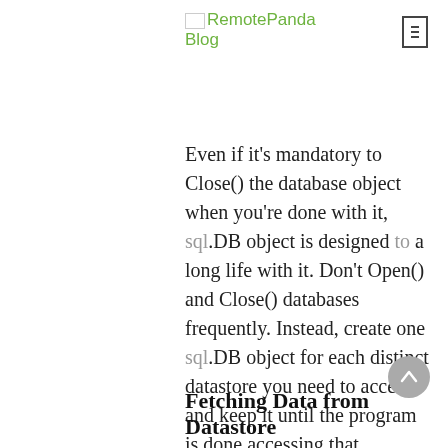RemotePanda Blog
Even if it's mandatory to Close() the database object when you're done with it, sql.DB object is designed to a long life with it. Don't Open() and Close() databases frequently. Instead, create one sql.DB object for each distinct datastore you need to access and keep it until the program is done accessing that datastore. Pass it around as needed, or make it available somehow globally, but keep it open.

Now, after connection opening, we'll see the operations to retrieve the resultset from datastore.
Fetching Data from Datastore